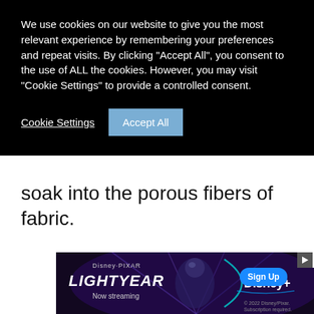We use cookies on our website to give you the most relevant experience by remembering your preferences and repeat visits. By clicking “Accept All”, you consent to the use of ALL the cookies. However, you may visit "Cookie Settings" to provide a controlled consent.
Cookie Settings
Accept All
soak into the porous fibers of fabric.
[Figure (other): Disney Pixar Lightyear advertisement banner - Now streaming on Disney+]